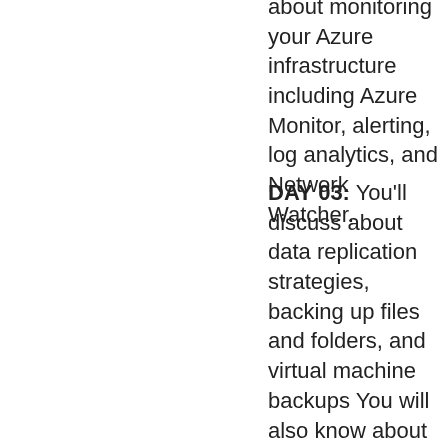about monitoring your Azure infrastructure including Azure Monitor, alerting, log analytics, and Network Watcher.
DAY 03: You'll discuss about data replication strategies, backing up files and folders, and virtual machine backups You will also know about network traffic strategies including service endpoints, network routing, Azure Load Balancer, and Azure Traffic Manager plus Azure Active Directory (AD) including Azure AD Connect and Azure